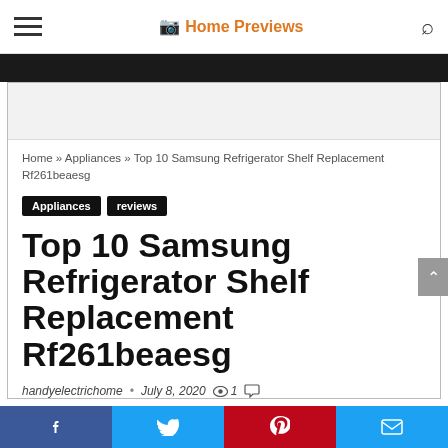Home Previews
Home » Appliances » Top 10 Samsung Refrigerator Shelf Replacement Rf261beaesg
Appliances
reviews
Top 10 Samsung Refrigerator Shelf Replacement Rf261beaesg
handyelectrichome • July 8, 2020  1